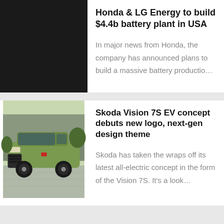[Figure (photo): Dark/black image placeholder for Honda battery plant article]
Honda & LG Energy to build $4.4b battery plant in USA
In major news from Honda, the company has announced plans to build a massive battery productio...
[Figure (photo): Green Skoda Vision 7S EV concept car photographed from the front, parked outside a building]
Skoda Vision 7S EV concept debuts new logo, next-gen design theme
Skoda has taken the wraps off its latest all-electric concept in the form of the Vision 7S. It's a look...